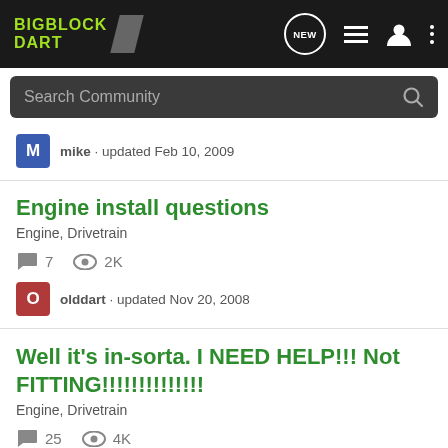BIGBLOCK DART [logo with slash]
Search Community
mike · updated Feb 10, 2009
Engine install questions
Engine, Drivetrain
7 comments · 2K views
olddart · updated Nov 20, 2008
Well it's in-sorta. I NEED HELP!!! Not FITTING!!!!!!!!!!!!!
Engine, Drivetrain
25 comments · 4K views